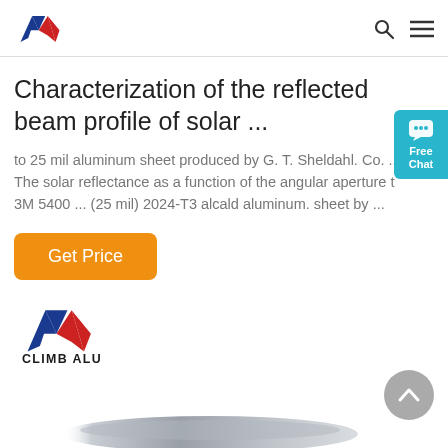Climb Alu logo and navigation icons
Characterization of the reflected beam profile of solar ...
to 25 mil aluminum sheet produced by G. T. Sheldahl. Co. ... The solar reflectance as a function of the angular aperture t 3M 5400 ... (25 mil) 2024-T3 alcald aluminum. sheet by ...
[Figure (other): Orange 'Get Price' button]
[Figure (logo): Climb Alu logo with mountain/wave icon and text CLIMB ALU]
[Figure (photo): Aluminum sheet edge/strip at bottom of page]